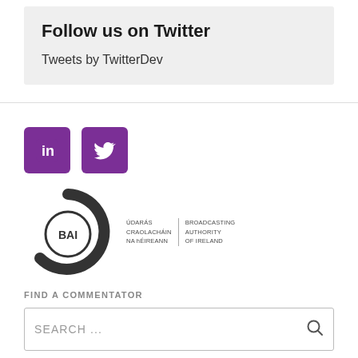Follow us on Twitter
Tweets by TwitterDev
[Figure (logo): LinkedIn and Twitter social media icon buttons (purple squares with white icons)]
[Figure (logo): BAI - Broadcasting Authority of Ireland logo with circular arc and text: ÚDARÁS CRAOLACHÁIN NA hÉIREANN | BROADCASTING AUTHORITY OF IRELAND]
FIND A COMMENTATOR
SEARCH ...